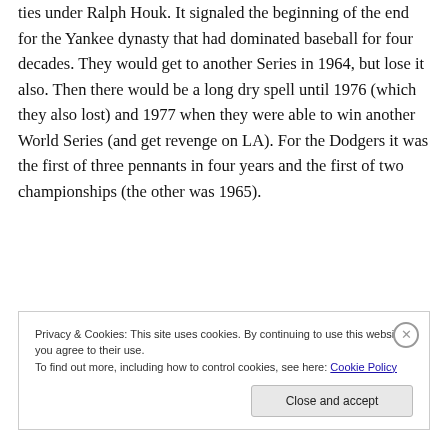ties under Ralph Houk. It signaled the beginning of the end for the Yankee dynasty that had dominated baseball for four decades. They would get to another Series in 1964, but lose it also. Then there would be a long dry spell until 1976 (which they also lost) and 1977 when they were able to win another World Series (and get revenge on LA). For the Dodgers it was the first of three pennants in four years and the first of two championships (the other was 1965).
Privacy & Cookies: This site uses cookies. By continuing to use this website, you agree to their use. To find out more, including how to control cookies, see here: Cookie Policy
Close and accept